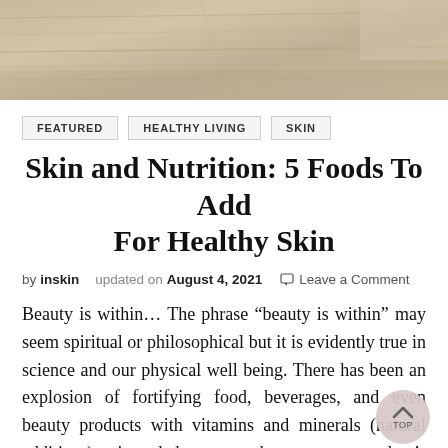[Figure (photo): Hero image showing a wooden surface/background with warm beige and tan tones]
FEATURED   HEALTHY LIVING   SKIN
Skin and Nutrition: 5 Foods To Add For Healthy Skin
by inskin  updated on August 4, 2021  Leave a Comment
Beauty is within… The phrase “beauty is within” may seem spiritual or philosophical but it is evidently true in science and our physical well being. There has been an explosion of fortifying food, beverages, and even beauty products with vitamins and minerals (natural additives) intended to enhance a product’s effectiveness.